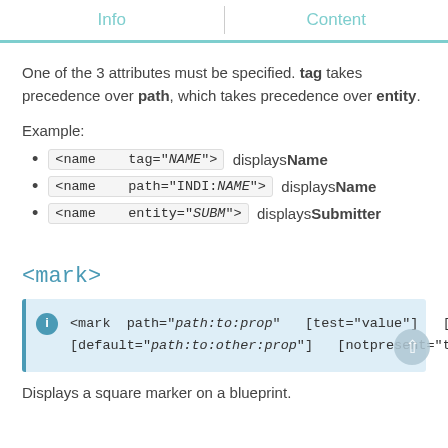Info | Content
One of the 3 attributes must be specified. tag takes precedence over path, which takes precedence over entity.
Example:
<name   tag="NAME">  displays Name
<name   path="INDI:NAME">  displays Name
<name   entity="SUBM">  displays Submitter
<mark>
<mark  path="path:to:prop"  [test="value"]  [repeat="n"]
[default="path:to:other:prop"]  [notpresent="true"]  >
Displays a square marker on a blueprint.